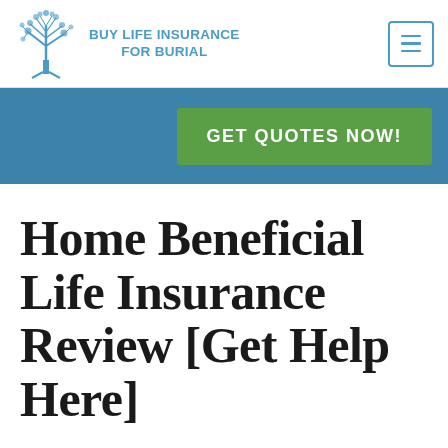BUY LIFE INSURANCE FOR BURIAL
[Figure (logo): Blue tree illustration with text BUY LIFE INSURANCE FOR BURIAL beside it, and a hamburger menu icon on the right]
GET QUOTES NOW!
Home Beneficial Life Insurance Review [Get Help Here]